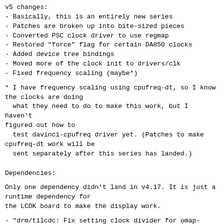v5 changes:
- Basically, this is an entirely new series
- Patches are broken up into bite-sized pieces
- Converted PSC clock driver to use regmap
- Restored "force" flag for certain DA850 clocks
- Added device tree bindings
- Moved more of the clock init to drivers/clk
- Fixed frequency scaling (maybe*)
* I have frequency scaling using cpufreq-dt, so I know the clocks are doing
  what they need to do to make this work, but I haven't figured out how to
  test davinci-cpufreq driver yet. (Patches to make cpufreq-dt work will be
  sent separately after this series has landed.)
Dependencies:
Only one dependency didn't land in v4.17. It is just a runtime dependency for
the LCDK board to make the display work.
- "drm/tilcdc: Fix setting clock divider for omap-l138"
[1]
[1]: https://patchwork.freedesktop.org/patch/210696/
You can find a working branch with everything included